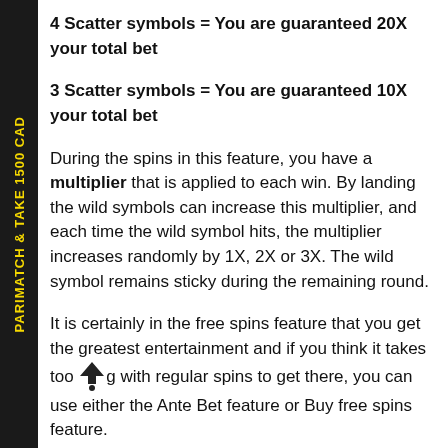4 Scatter symbols = You are guaranteed 20X your total bet
3 Scatter symbols = You are guaranteed 10X your total bet
During the spins in this feature, you have a multiplier that is applied to each win. By landing the wild symbols can increase this multiplier, and each time the wild symbol hits, the multiplier increases randomly by 1X, 2X or 3X. The wild symbol remains sticky during the remaining round.
It is certainly in the free spins feature that you get the greatest entertainment and if you think it takes too long with regular spins to get there, you can use either the Ante Bet feature or Buy free spins feature.
PARIMATCH & TAKE 1500 CAD